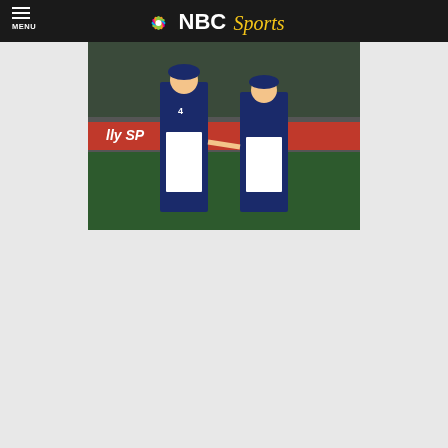MENU | NBC Sports
[Figure (photo): Two Minnesota Twins baseball players in navy uniforms greeting each other on the field, with a red advertising banner in the background.]
The Minnesota Twins will shoot for their seventh victory in a row as they look to finish off a three-game sweep of the visiting Detroit Tigers on Wednesday afternoon in Minneapolis.
The Twins won the series opener 5-4 on Monday and followed that up with a 2-0 victory on Tuesday. Minnesota is a season-best 11 games above .500 and has outscored opponents 43-20 during its latest winning streak.
The string of success prompted a happy mood inside the Minnesota clubhouse, where players recently started banging a gong after victories.